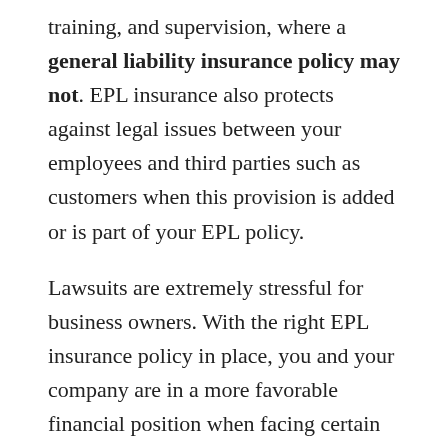training, and supervision, where a general liability insurance policy may not. EPL insurance also protects against legal issues between your employees and third parties such as customers when this provision is added or is part of your EPL policy.
Lawsuits are extremely stressful for business owners. With the right EPL insurance policy in place, you and your company are in a more favorable financial position when facing certain legal situations. Your policy should be customized to meet the needs of your company, based upon the type and size of your enterprise, and affordable enough to be accessible. There are several companies that offer EPL insurance products, and